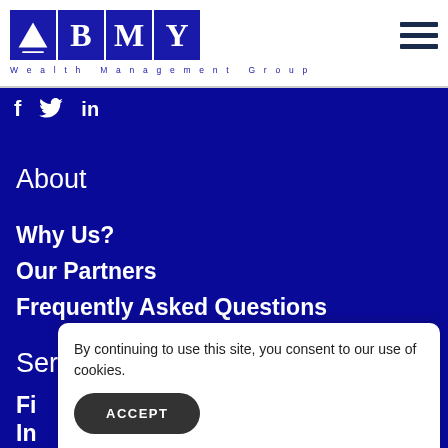[Figure (logo): BMY Wealth Management Group logo with three blue squares containing a triangle/mountain symbol, B, M, and Y letters, with 'Wealth Management Group' text below in blue spaced lettering]
f  🐦  in
About
Why Us?
Our Partners
Frequently Asked Questions
Services
Fi
In
By continuing to use this site, you consent to our use of cookies.
ACCEPT